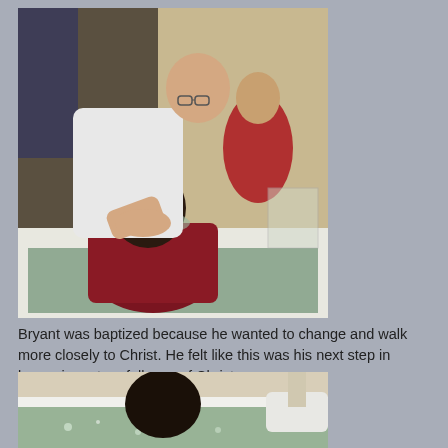[Figure (photo): A man in a white shirt bending over a baptism pool, pressing down on the head of a person dressed in dark red/maroon clothing who is being submerged in water. A woman in red is visible in the background.]
Bryant was baptized because he wanted to change and walk more closely to Christ. He felt like this was his next step in becoming a true follower of Christ.
[Figure (photo): A person with dark hair visible from behind, partially submerged in a baptism pool with water, with another person's white-sleeved arm visible to the right.]